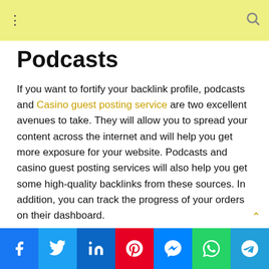Podcasts
If you want to fortify your backlink profile, podcasts and Casino guest posting service are two excellent avenues to take. They will allow you to spread your content across the internet and will help you get more exposure for your website. Podcasts and casino guest posting services will also help you get some high-quality backlinks from these sources. In addition, you can track the progress of your orders on their dashboard.
Another way to fortify your backlink profile is by guest posting on other blogs. Guest posting not only increases your online authority but also helps you build relationships with influenti bloggers. The audience will be more responsive to your
Facebook Twitter LinkedIn Pinterest Messenger WhatsApp Telegram